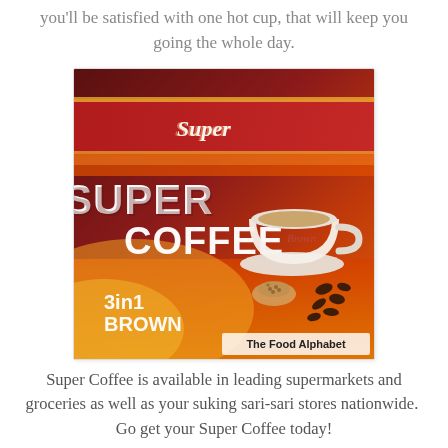you'll be satisfied with one hot cup, that will keep you going the whole day.
[Figure (photo): Photo of Super Coffee 3in1 Brown product packaging, showing the brand name 'Super' at the top on a red ribbon, large text 'SUPER COFFEE' across the package, a white cup of coffee with 'Brown' written on it, coffee beans, and text '3in1 BROWN' at the bottom left. A watermark reads 'The Food Alphabet' at the bottom right.]
Super Coffee is available in leading supermarkets and groceries as well as your suking sari-sari stores nationwide.  Go get your Super Coffee today!